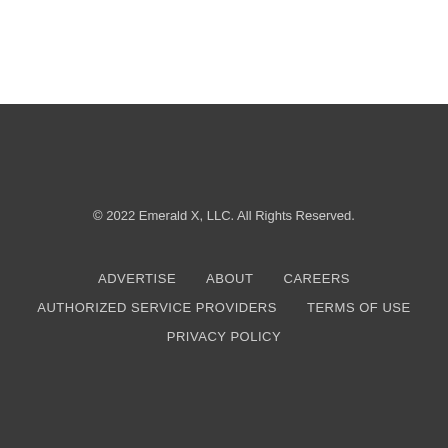© 2022 Emerald X, LLC. All Rights Reserved.
ADVERTISE
ABOUT
CAREERS
AUTHORIZED SERVICE PROVIDERS
TERMS OF USE
PRIVACY POLICY